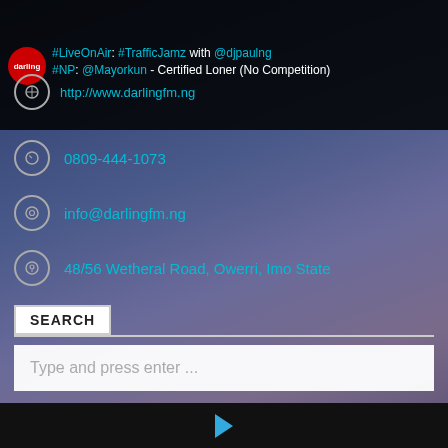#LiveOnAir: #TrafficJamz with @djpaulng #NP: @Mayorkun - Certified Loner (No Competition)
http://www.darlingfm.ng
0809-444-1073
info@darlingfm.ng
48/56 Wetheral Road, Owerri, Imo State
SEARCH
Type and press enter ...